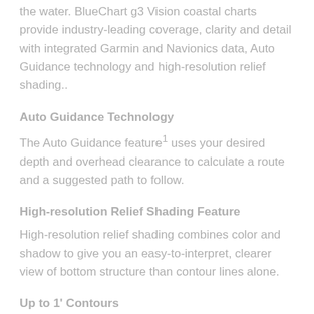the water. BlueChart g3 Vision coastal charts provide industry-leading coverage, clarity and detail with integrated Garmin and Navionics data, Auto Guidance technology and high-resolution relief shading..
Auto Guidance Technology
The Auto Guidance feature¹ uses your desired depth and overhead clearance to calculate a route and a suggested path to follow.
High-resolution Relief Shading Feature
High-resolution relief shading combines color and shadow to give you an easy-to-interpret, clearer view of bottom structure than contour lines alone.
Up to 1' Contours